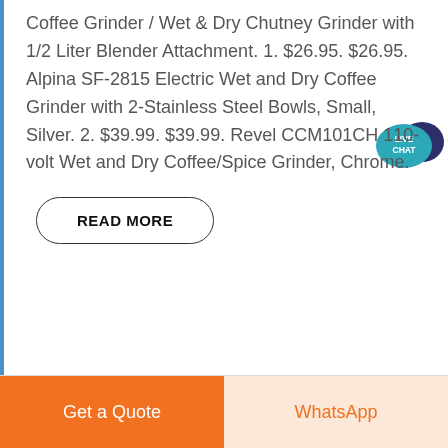Coffee Grinder / Wet & Dry Chutney Grinder with 1/2 Liter Blender Attachment. 1. $26.95. $26.95. Alpina SF-2815 Electric Wet and Dry Coffee Grinder with 2-Stainless Steel Bowls, Small, Silver. 2. $39.99. $39.99. Revel CCM101CH 110-volt Wet and Dry Coffee/Spice Grinder, Chrome.
[Figure (illustration): Live Chat speech bubble icon badge in dark navy and teal colors with white text 'LIVE CHAT']
READ MORE
Get a Quote | WhatsApp